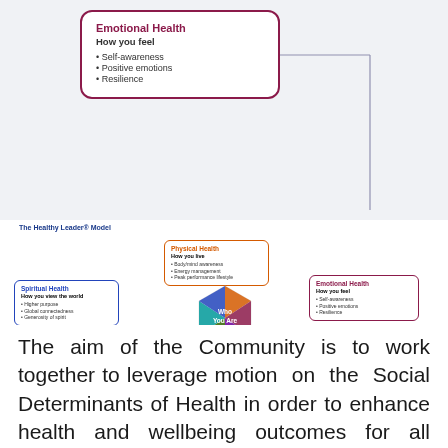[Figure (infographic): Zoomed-in view of the Emotional Health box from the Healthy Leader Model, showing title 'Emotional Health', subtitle 'How you feel', and bullet points: Self-awareness, Positive emotions, Resilience. Connected by a line to the full diagram below.]
[Figure (infographic): The Healthy Leader® Model diagram showing six interconnected health domains: Physical Health (How you live: Body/mind awareness, Energy management, Peak performance lifestyle), Spiritual Health (How you view the world: Higher purpose, Global connectedness, Generosity of spirit), Emotional Health (How you feel: Self-awareness, Positive emotions, Resilience), Vocational Health (How you perform: Meaningful calling, Personal mastery, Drive to succeed), Intellectual Health (How you think: Deep curiosity, Adaptive mindset, Paradoxical thinking), Social Health (How you interact: Authenticity, Mutually rewarding relationships, Nourishing communities). Center shows a hexagon with 'Who You Are'.]
The aim of the Community is to work together to leverage motion on the Social Determinants of Health in order to enhance health and wellbeing outcomes for all Tasmanians. Collectively